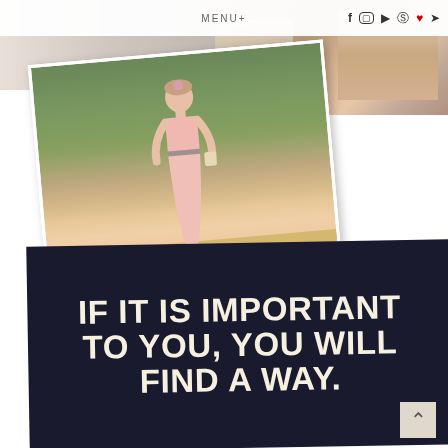MENU+
[Figure (photo): Website header with MENU+ navigation and social media icons (Facebook, Instagram, YouTube, Pinterest, heart, Twitter)]
[Figure (photo): Collage of photos: top strip showing partial images, and a main angled photo of a young woman wearing a pink/blush maxi dress standing outdoors in front of green foliage and a yellow wall]
[Figure (infographic): Dark navy motivational quote card with white bold text reading: IF IT IS IMPORTANT TO YOU, YOU WILL FIND A WAY.]